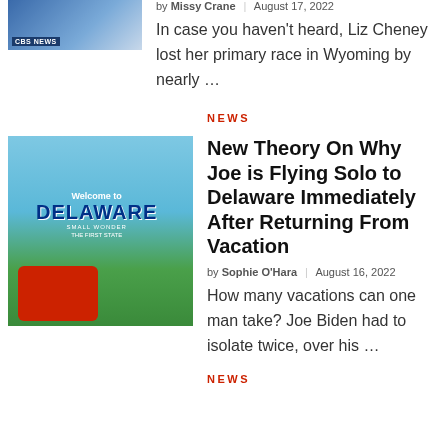[Figure (screenshot): CBS News video thumbnail showing two people]
by Missy Crane | August 17, 2022
In case you haven't heard, Liz Cheney lost her primary race in Wyoming by nearly …
NEWS
[Figure (photo): Welcome to Delaware sign with baby on red suitcase]
New Theory On Why Joe is Flying Solo to Delaware Immediately After Returning From Vacation
by Sophie O'Hara | August 16, 2022
How many vacations can one man take? Joe Biden had to isolate twice, over his …
NEWS